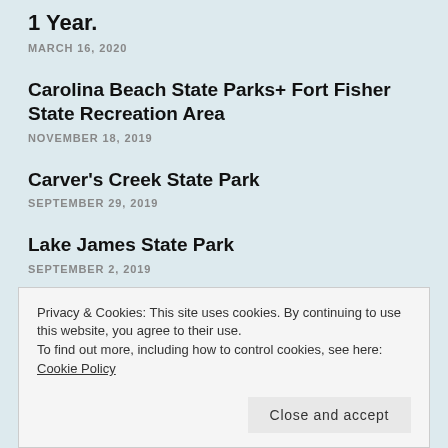1 Year.
MARCH 16, 2020
Carolina Beach State Parks+ Fort Fisher State Recreation Area
NOVEMBER 18, 2019
Carver's Creek State Park
SEPTEMBER 29, 2019
Lake James State Park
SEPTEMBER 2, 2019
Privacy & Cookies: This site uses cookies. By continuing to use this website, you agree to their use.
To find out more, including how to control cookies, see here: Cookie Policy
Close and accept
JUNE 23, 2019